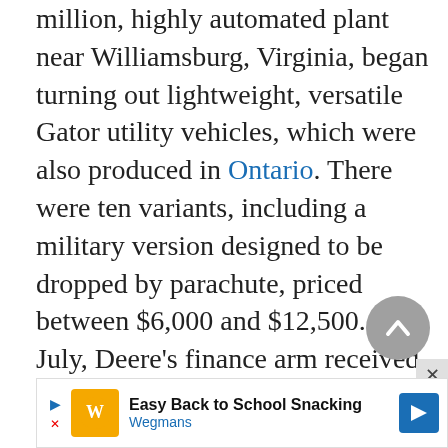in June 2000, the company's new $300 million, highly automated plant near Williamsburg, Virginia, began turning out lightweight, versatile Gator utility vehicles, which were also produced in Ontario. There were ten variants, including a military version designed to be dropped by parachute, priced between $6,000 and $12,500. In July, Deere's finance arm received approval to charter its own federal savings bank, which would take over the...